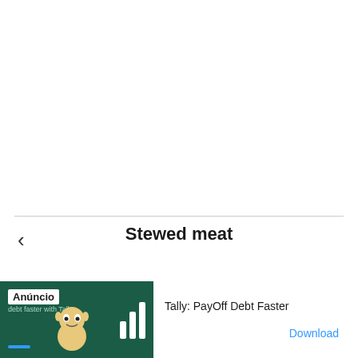‹
Stewed meat
[Figure (infographic): Advertisement banner for Tally: PayOff Debt Faster app. Left side has dark green background with 'Anúncio' label, cartoon character, and Tally logo bars. Right side shows text 'Tally: PayOff Debt Faster' and 'Download' link in blue.]
X